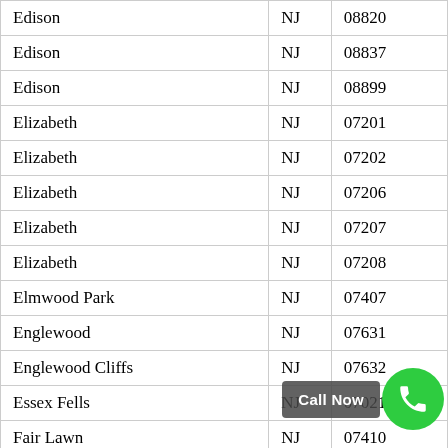| City | State | ZIP |
| --- | --- | --- |
| Edison | NJ | 08820 |
| Edison | NJ | 08837 |
| Edison | NJ | 08899 |
| Elizabeth | NJ | 07201 |
| Elizabeth | NJ | 07202 |
| Elizabeth | NJ | 07206 |
| Elizabeth | NJ | 07207 |
| Elizabeth | NJ | 07208 |
| Elmwood Park | NJ | 07407 |
| Englewood | NJ | 07631 |
| Englewood Cliffs | NJ | 07632 |
| Essex Fells | NJ | 07021 |
| Fair Lawn | NJ | 07410 |
| Fairfield | NJ | 07004 |